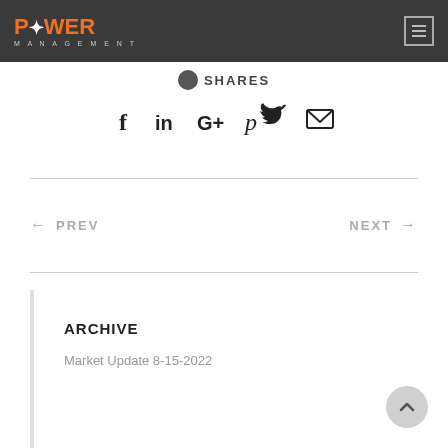POWER MANAGEMENT
SHARES
[Figure (infographic): Social sharing icons: Facebook (f), LinkedIn (in), Google+ (G+), Pinterest (p), Twitter bird, Email envelope]
← PREV
NEXT →
ARCHIVE
Market Update 8-15-2022